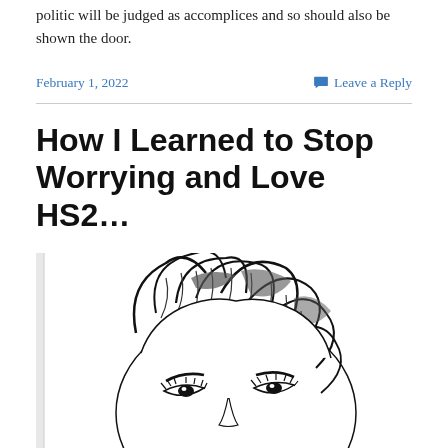politic will be judged as accomplices and so should also be shown the door.
February 1, 2022   Leave a Reply
How I Learned to Stop Worrying and Love HS2...
[Figure (illustration): Black and white pen sketch illustration of a woman's face with wild, flowing hair, rendered in an expressive ink drawing style. Only the eyes and forehead are visible, with the rest of the face partially obscured.]